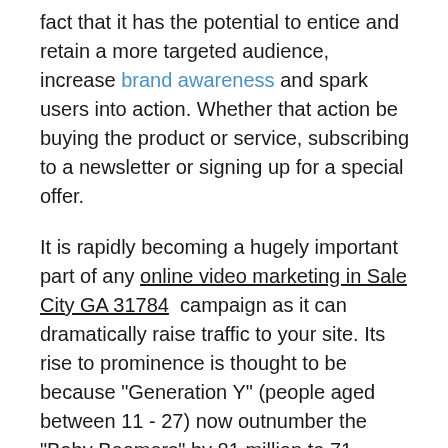fact that it has the potential to entice and retain a more targeted audience, increase brand awareness and spark users into action. Whether that action be buying the product or service, subscribing to a newsletter or signing up for a special offer.
It is rapidly becoming a hugely important part of any online video marketing in Sale City GA 31784 campaign as it can dramatically raise traffic to your site. Its rise to prominence is thought to be because "Generation Y" (people aged between 11 - 27) now outnumber the "Baby Boomers" by 81 million to 71 million. "Generation Y" have a tendency to watch more videos online in GA.
Another reason for Video Ranking services in Sale City rise in importance is the size of videos. Not too long ago they where big bulky things that required an internet connection